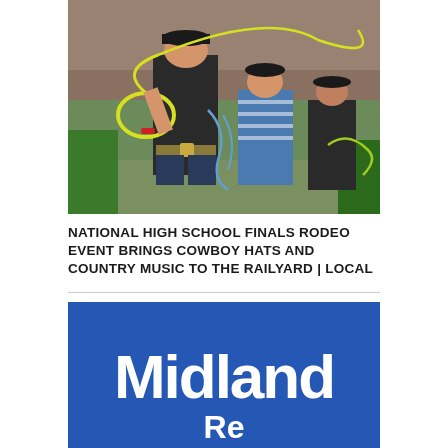[Figure (photo): A boy in a black t-shirt and cap spinning a yellow lasso/rope at an outdoor rodeo event. Two other boys are visible in the background, one in a blue striped shirt and another in a black shirt. Green equipment and a brick building are visible in the background.]
NATIONAL HIGH SCHOOL FINALS RODEO EVENT BRINGS COWBOY HATS AND COUNTRY MUSIC TO THE RAILYARD | LOCAL
[Figure (logo): Midland logo — white text on a royal blue background. Large bold serif/sans text reading 'Midland' with additional text below partially visible.]